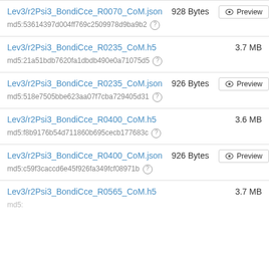Lev3/r2Psi3_BondiCce_R0070_CoM.json  928 Bytes  Preview
md5:53614397d004ff769c2509978d9ba9b2
Lev3/r2Psi3_BondiCce_R0235_CoM.h5  3.7 MB
md5:21a51bdb7620fa1dbdb490e0a71075d5
Lev3/r2Psi3_BondiCce_R0235_CoM.json  926 Bytes  Preview
md5:518e7505bbe623aa07f7cba729405d31
Lev3/r2Psi3_BondiCce_R0400_CoM.h5  3.6 MB
md5:f8b9176b54d711860b695cecb177683c
Lev3/r2Psi3_BondiCce_R0400_CoM.json  926 Bytes  Preview
md5:c59f3caccd6e45f926fa349fcf08971b
Lev3/r2Psi3_BondiCce_R0565_CoM.h5  3.7 MB